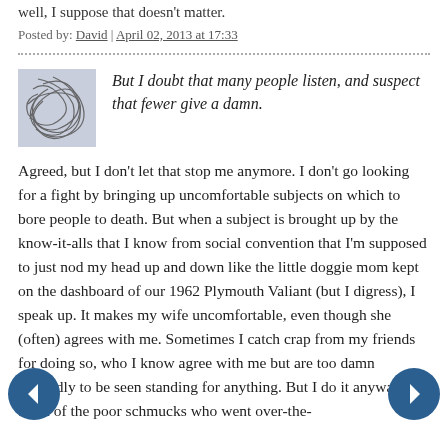well, I suppose that doesn't matter.
Posted by: David | April 02, 2013 at 17:33
[Figure (illustration): Small avatar image with abstract scribble lines on a grey-blue background]
But I doubt that many people listen, and suspect that fewer give a damn.
Agreed, but I don't let that stop me anymore. I don't go looking for a fight by bringing up uncomfortable subjects on which to bore people to death. But when a subject is brought up by the know-it-alls that I know from social convention that I'm supposed to just nod my head up and down like the little doggie mom kept on the dashboard of our 1962 Plymouth Valiant (but I digress), I speak up. It makes my wife uncomfortable, even though she (often) agrees with me. Sometimes I catch crap from my friends for doing so, who I know agree with me but are too damn cowardly to be seen standing for anything. But I do it anyway. I think of the poor schmucks who went over-the-